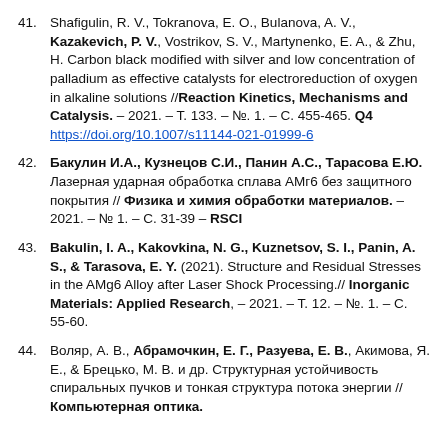41. Shafigulin, R. V., Tokranova, E. O., Bulanova, A. V., Kazakevich, P. V., Vostrikov, S. V., Martynenko, E. A., & Zhu, H. Carbon black modified with silver and low concentration of palladium as effective catalysts for electroreduction of oxygen in alkaline solutions //Reaction Kinetics, Mechanisms and Catalysis. – 2021. – T. 133. – №. 1. – C. 455-465. Q4 https://doi.org/10.1007/s11144-021-01999-6
42. Бакулин И.А., Кузнецов С.И., Панин А.С., Тарасова Е.Ю. Лазерная ударная обработка сплава АМг6 без защитного покрытия // Физика и химия обработки материалов. – 2021. – № 1. – С. 31-39 – RSCI
43. Bakulin, I. A., Kakovkina, N. G., Kuznetsov, S. I., Panin, A. S., & Tarasova, E. Y. (2021). Structure and Residual Stresses in the AMg6 Alloy after Laser Shock Processing.// Inorganic Materials: Applied Research, – 2021. – T. 12. – №. 1. – C. 55-60.
44. Воляр, А. В., Абрамочкин, Е. Г., Разуева, Е. В., Акимова, Я. Е., & Брецько, М. В. и др. Структурная устойчивость спиральных пучков и тонкая структура потока энергии //Компьютерная оптика.